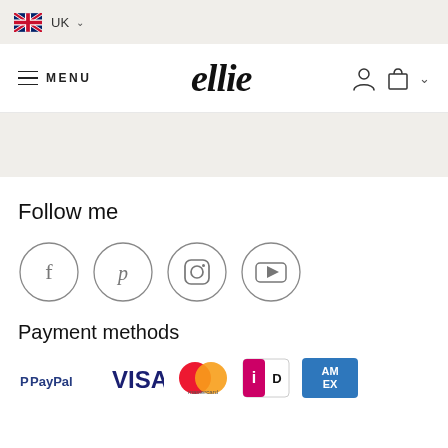UK
[Figure (screenshot): Website navigation bar with MENU text, ellie logo in italic serif font, user account icon, and shopping bag icon]
Follow me
[Figure (infographic): Four circular social media icons: Facebook (f), Pinterest (p), Instagram, YouTube]
Payment methods
[Figure (infographic): Payment method logos: PayPal, VISA, Mastercard, iDEAL, American Express]